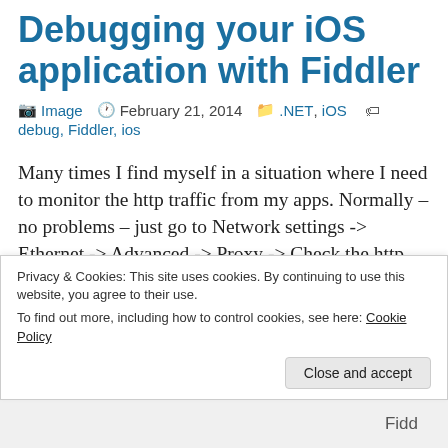Debugging your iOS application with Fiddler
Image  February 21, 2014  .NET, iOS  debug, Fiddler, ios
Many times I find myself in a situation where I need to monitor the http traffic from my apps. Normally – no problems – just go to Network settings -> Ethernet -> Advanced -> Proxy -> Check the http proxy and enter the address and
Privacy & Cookies: This site uses cookies. By continuing to use this website, you agree to their use. To find out more, including how to control cookies, see here: Cookie Policy
Close and accept
Fidd